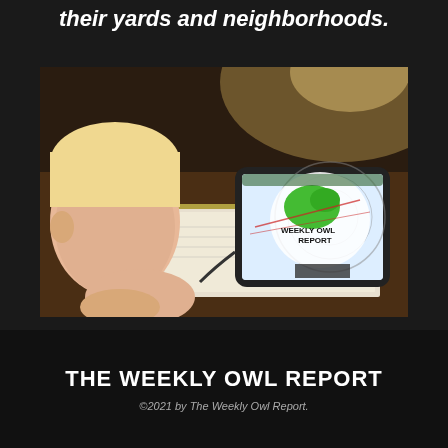their yards and neighborhoods.
[Figure (photo): Child watching a tablet displaying the Weekly Owl Report logo, sitting at a desk with papers and a pencil, warm ambient lighting]
THE WEEKLY OWL REPORT
©2021 by The Weekly Owl Report.